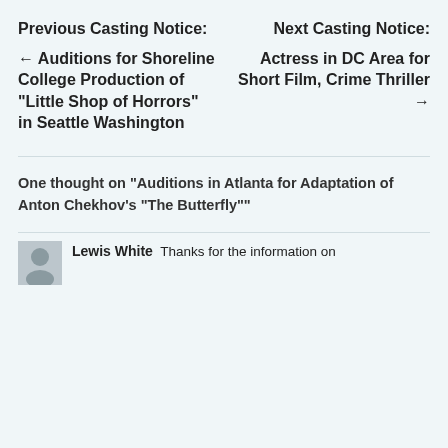Previous Casting Notice:
Next Casting Notice:
← Auditions for Shoreline College Production of “Little Shop of Horrors” in Seattle Washington
Actress in DC Area for Short Film, Crime Thriller →
One thought on “Auditions in Atlanta for Adaptation of Anton Chekhov’s “The Butterfly””
Lewis White   Thanks for the information on